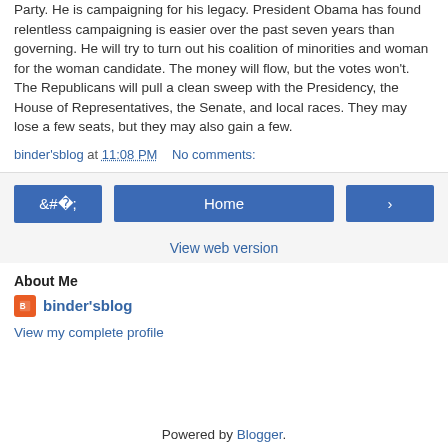Party. He is campaigning for his legacy. President Obama has found relentless campaigning is easier over the past seven years than governing. He will try to turn out his coalition of minorities and woman for the woman candidate. The money will flow, but the votes won't. The Republicans will pull a clean sweep with the Presidency, the House of Representatives, the Senate, and local races. They may lose a few seats, but they may also gain a few.
binder'sblog at 11:08 PM   No comments:
Home
View web version
About Me
binder'sblog
View my complete profile
Powered by Blogger.